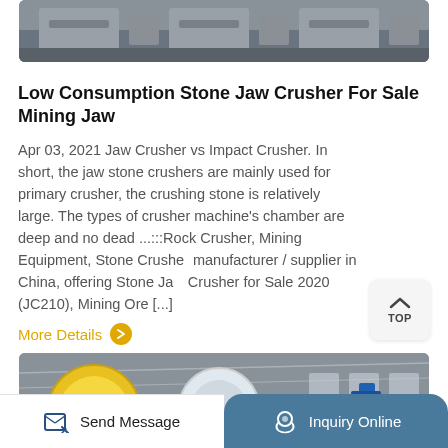[Figure (photo): Top portion of industrial stone jaw crusher machinery, showing metal frame and mechanical components, partially cropped at top.]
Low Consumption Stone Jaw Crusher For Sale Mining Jaw
Apr 03, 2021 Jaw Crusher vs Impact Crusher. In short, the jaw stone crushers are mainly used for primary crusher, the crushing stone is relatively large. The types of crusher machine's chamber are deep and no dead ...:::Rock Crusher, Mining Equipment, Stone Crusher manufacturer / supplier in China, offering Stone Jaw Crusher for Sale 2020 (JC210), Mining Ore [...]
More Details
[Figure (photo): Interior of a large industrial facility showing yellow and white circular mining equipment (ball mills or jaw crushers) in a warehouse/factory setting.]
Send Message   Inquiry Online